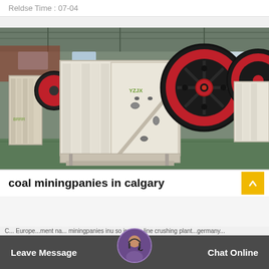Reldse Time : 07-04
[Figure (photo): Industrial jaw crushers with large red and black flywheel wheels, white/cream painted bodies with ribbed side plates, photographed inside a factory/warehouse setting with green floor. Multiple units visible.]
coal miningpanies in calgary
Leave Message  Chat Online
C... Europe ...ment na... miningpanies inu so ironore line crushing plant... germany...